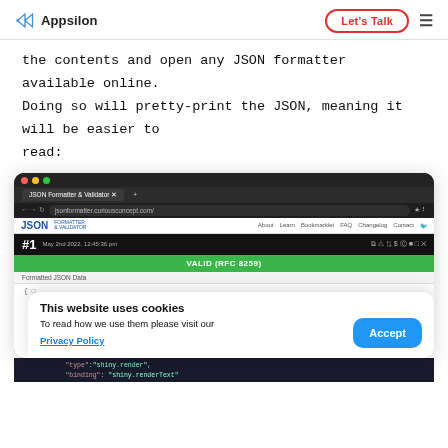Appsilon | Let's Talk
the contents and open any JSON formatter available online. Doing so will pretty-print the JSON, meaning it will be easier to read:
[Figure (screenshot): Screenshot of a JSON Formatter & Validator website showing formatted JSON data with a VALID (RFC 8259) banner, overlaid by a cookie consent banner reading 'This website uses cookies. To read how we use them please visit our Privacy Policy' with an Accept button.]